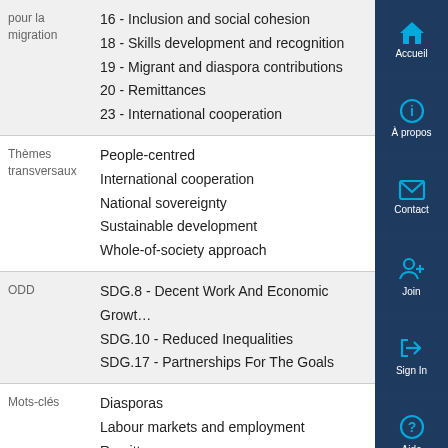| Category | Value |
| --- | --- |
| pour la migration | 16 - Inclusion and social cohesion
18 - Skills development and recognition
19 - Migrant and diaspora contributions
20 - Remittances
23 - International cooperation |
| Thèmes transversaux | People-centred
International cooperation
National sovereignty
Sustainable development
Whole-of-society approach |
| ODD | SDG.8 - Decent Work And Economic Growth
SDG.10 - Reduced Inequalities
SDG.17 - Partnerships For The Goals |
| Mots-clés | Diasporas
Labour markets and employment
Remittances |
| État | Publié |